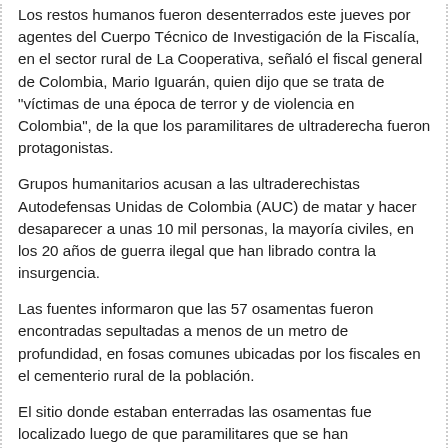Los restos humanos fueron desenterrados este jueves por agentes del Cuerpo Técnico de Investigación de la Fiscalía, en el sector rural de La Cooperativa, señaló el fiscal general de Colombia, Mario Iguarán, quien dijo que se trata de "víctimas de una época de terror y de violencia en Colombia", de la que los paramilitares de ultraderecha fueron protagonistas.
Grupos humanitarios acusan a las ultraderechistas Autodefensas Unidas de Colombia (AUC) de matar y hacer desaparecer a unas 10 mil personas, la mayoría civiles, en los 20 años de guerra ilegal que han librado contra la insurgencia.
Las fuentes informaron que las 57 osamentas fueron encontradas sepultadas a menos de un metro de profundidad, en fosas comunes ubicadas por los fiscales en el cementerio rural de la población.
El sitio donde estaban enterradas las osamentas fue localizado luego de que paramilitares que se han desmovilizado, a cambio de beneficios judiciales, entregaron datos a las autoridades donde estaban sepultados los restos.
Las AUC aceptaron entregar las armas en 2004, a cambio de penas bajas de prisión, la reclusión de sus jefes en cárceles